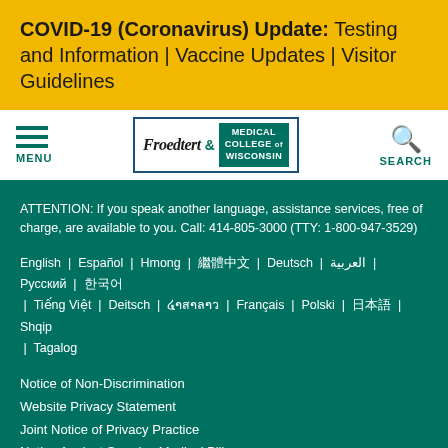COVID-19 (Coronavirus) Update: Testing and Information | Vaccine Updates | Visitor Guidelines
[Figure (logo): Froedtert & Medical College of Wisconsin logo with menu and search icons in navigation bar]
ATTENTION: If you speak another language, assistance services, free of charge, are available to you. Call: 414-805-3000 (TTY: 1-800-947-3529)
English | Español | Hmong | 繁體中文 | Deutsch | العربية | Русский | 한국어 | Tiếng Việt | Deitsch | ພາສາລາວ | Français | Polski | 日本語 | Shqip | Tagalog
Notice of Non-Discrimination
Website Privacy Statement
Joint Notice of Privacy Practice
Notice Against Surprise Medical Bills
Contact Us